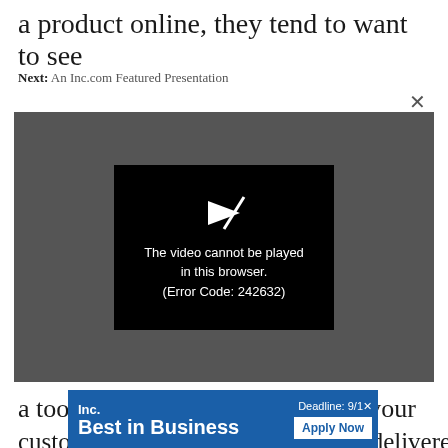a product online, they tend to want to see
Next: An Inc.com Featured Presentation
[Figure (screenshot): Video player showing error: 'The video cannot be played in this browser. (Error Code: 242632)' on a dark grey background with a black error dialog.]
a tool that automatically contacts your
customers after a product has been delivered
to po
[Figure (screenshot): Inc. Best in Business advertisement banner with 'Deadline: 9/1' and 'Apply Now' button on blue background.]